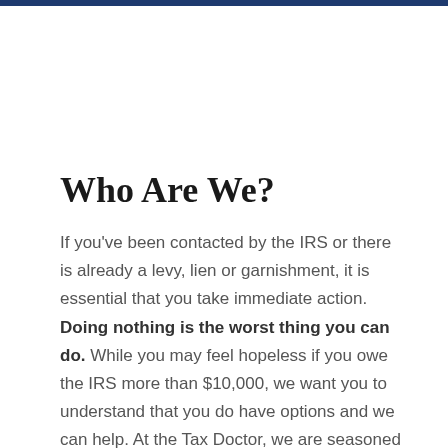Who Are We?
If you’ve been contacted by the IRS or there is already a levy, lien or garnishment, it is essential that you take immediate action. Doing nothing is the worst thing you can do. While you may feel hopeless if you owe the IRS more than $10,000, we want you to understand that you do have options and we can help. At the Tax Doctor, we are seasoned tax professionals that will deal with the IRS for you. We know how scary it can be, so we use